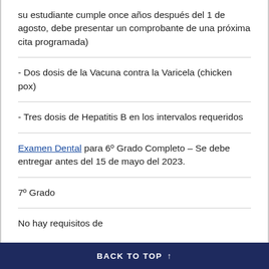su estudiante cumple once años después del 1 de agosto, debe presentar un comprobante de una próxima cita programada)
- Dos dosis de la Vacuna contra la Varicela (chicken pox)
- Tres dosis de Hepatitis B en los intervalos requeridos
Examen Dental para 6º Grado Completo – Se debe entregar antes del 15 de mayo del 2023.
7º Grado
No hay requisitos de
BACK TO TOP ↑